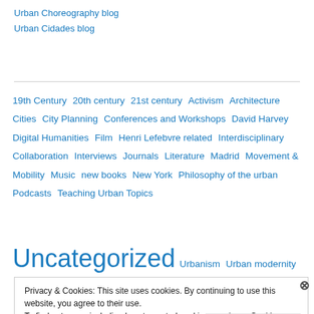Urban Choreography blog
Urban Cidades blog
19th Century  20th century  21st century  Activism  Architecture  Cities  City Planning  Conferences and Workshops  David Harvey  Digital Humanities  Film  Henri Lefebvre related  Interdisciplinary Collaboration  Interviews  Journals  Literature  Madrid  Movement & Mobility  Music  new books  New York  Philosophy of the urban  Podcasts  Teaching Urban Topics
Uncategorized  Urbanism  Urban modernity
Privacy & Cookies: This site uses cookies. By continuing to use this website, you agree to their use.
To find out more, including how to control cookies, see here: Cookie Policy